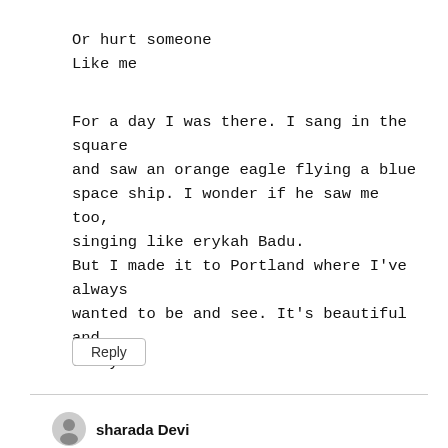Or hurt someone
Like me
For a day I was there. I sang in the square and saw an orange eagle flying a blue space ship. I wonder if he saw me too, singing like erykah Badu.
But I made it to Portland where I've always wanted to be and see. It's beautiful and crazy.
Reply
sharada Devi